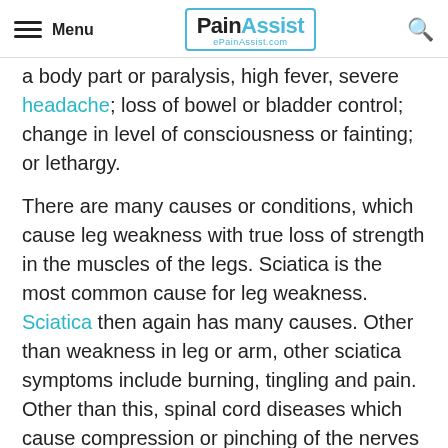Menu | PainAssist ePainAssist.com
a body part or paralysis, high fever, severe headache; loss of bowel or bladder control; change in level of consciousness or fainting; or lethargy.
There are many causes or conditions, which cause leg weakness with true loss of strength in the muscles of the legs. Sciatica is the most common cause for leg weakness. Sciatica then again has many causes. Other than weakness in leg or arm, other sciatica symptoms include burning, tingling and pain. Other than this, spinal cord diseases which cause compression or pinching of the nerves can also cause leg weakness.